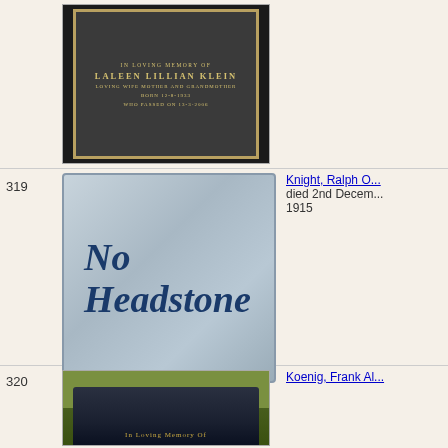[Figure (photo): Headstone plaque for Laleen Lillian Klein, black plaque with gold border and gold text reading: IN LOVING MEMORY OF LALEEN LILLIAN KLEIN LOVING WIFE MOTHER AND GRANDMOTHER BORN 12-8-1933 WHO PASSED ON 13-3-2006]
[Figure (photo): No Headstone placeholder image - silver/grey gradient background with dark blue italic bold text reading 'No Headstone']
Knight, Ralph O... died 2nd December 1915
[Figure (photo): Partial photo of dark granite headstone on green grass with gold script text reading 'In Loving Memory Of']
Koenig, Frank Al...